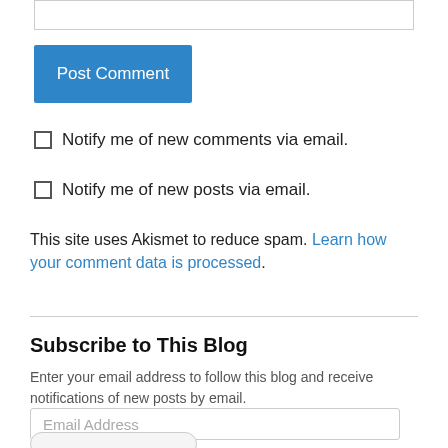[Figure (screenshot): Text input box (partially visible at top)]
Post Comment
Notify me of new comments via email.
Notify me of new posts via email.
This site uses Akismet to reduce spam. Learn how your comment data is processed.
Subscribe to This Blog
Enter your email address to follow this blog and receive notifications of new posts by email.
Email Address